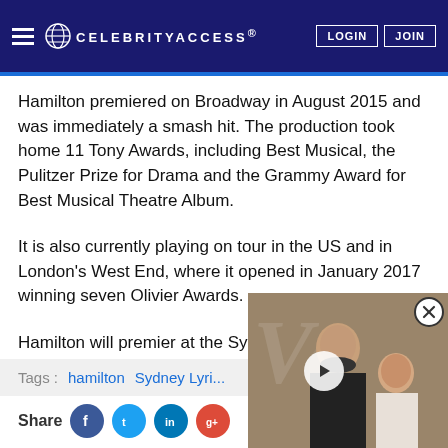CELEBRITYACCESS. LOGIN JOIN
Hamilton premiered on Broadway in August 2015 and was immediately a smash hit. The production took home 11 Tony Awards, including Best Musical, the Pulitzer Prize for Drama and the Grammy Award for Best Musical Theatre Album.
It is also currently playing on tour in the US and in London's West End, where it opened in January 2017 winning seven Olivier Awards.
Hamilton will premier at the Sydney Lyric Theatre starting in March 2021.
[Figure (photo): Photo of two people at an event, partially obscured by a video overlay with a play button and close button]
Tags: hamilton  Sydney Lyri...
Share (social icons: Facebook, Twitter, LinkedIn, Google+)